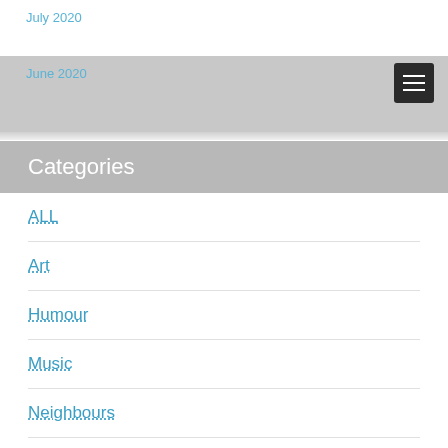July 2020
June 2020
Categories
ALL
Art
Humour
Music
Neighbours
Photography